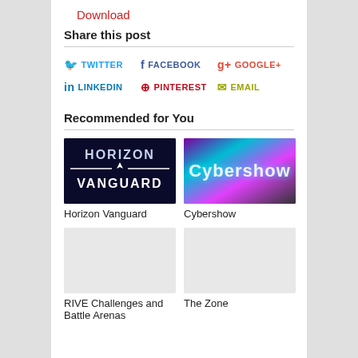Download
Share this post
TWITTER
FACEBOOK
GOOGLE+
LINKEDIN
PINTEREST
EMAIL
Recommended for You
[Figure (photo): Horizon Vanguard game title card - dark blue background with white text 'HORIZON VANGUARD' and a small spaceship graphic]
Horizon Vanguard
[Figure (photo): Cybershow neon-glowing title card with colorful cyberpunk background]
Cybershow
[Figure (photo): RIVE Challenges and Battle Arenas - placeholder thumbnail]
RIVE Challenges and Battle Arenas
[Figure (photo): The Zone - placeholder thumbnail]
The Zone